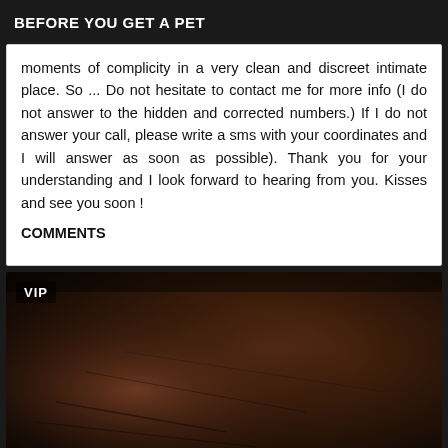BEFORE YOU GET A PET
moments of complicity in a very clean and discreet intimate place. So ... Do not hesitate to contact me for more info (I do not answer to the hidden and corrected numbers.) If I do not answer your call, please write a sms with your coordinates and I will answer as soon as possible). Thank you for your understanding and I look forward to hearing from you. Kisses and see you soon ! COMMENTS
[Figure (photo): A dark, close-up photo with a VIP badge in the upper left corner. The image shows a dark brownish textured surface.]